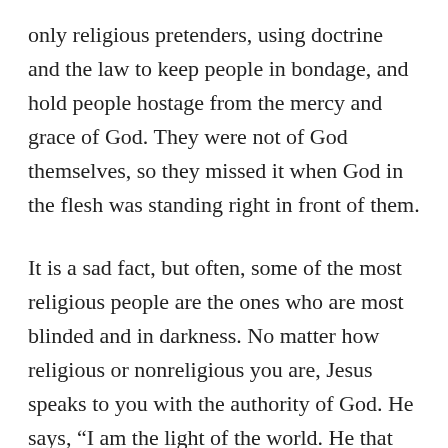only religious pretenders, using doctrine and the law to keep people in bondage, and hold people hostage from the mercy and grace of God. They were not of God themselves, so they missed it when God in the flesh was standing right in front of them.
It is a sad fact, but often, some of the most religious people are the ones who are most blinded and in darkness. No matter how religious or nonreligious you are, Jesus speaks to you with the authority of God. He says, “I am the light of the world. He that followeth me shall not walk in darkness, but shall have the light of